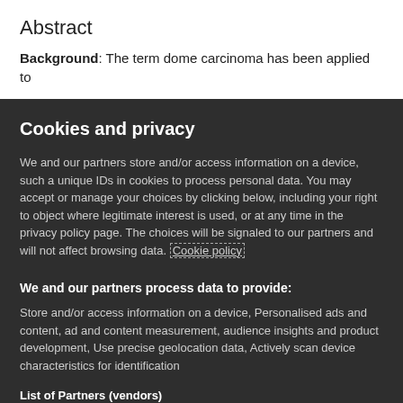Abstract
Background: The term dome carcinoma has been applied to
Cookies and privacy
We and our partners store and/or access information on a device, such a unique IDs in cookies to process personal data. You may accept or manage your choices by clicking below, including your right to object where legitimate interest is used, or at any time in the privacy policy page. These choices will be signaled to our partners and will not affect browsing data. Cookie policy
We and our partners process data to provide:
Store and/or access information on a device, Personalised ads and content, ad and content measurement, audience insights and product development, Use precise geolocation data, Actively scan device characteristics for identification
List of Partners (vendors)